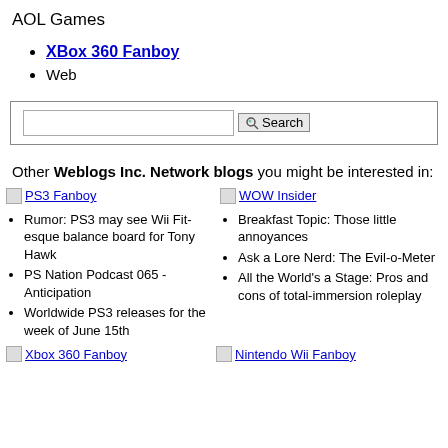AOL Games
XBox 360 Fanboy
Web
[Figure (screenshot): Search box with text input and Search button]
Other Weblogs Inc. Network blogs you might be interested in:
[Figure (screenshot): PS3 Fanboy blog image/logo]
Rumor: PS3 may see Wii Fit-esque balance board for Tony Hawk
PS Nation Podcast 065 - Anticipation
Worldwide PS3 releases for the week of June 15th
[Figure (screenshot): WOW Insider blog image/logo]
Breakfast Topic: Those little annoyances
Ask a Lore Nerd: The Evil-o-Meter
All the World's a Stage: Pros and cons of total-immersion roleplay
[Figure (screenshot): Xbox 360 Fanboy blog image/logo link]
[Figure (screenshot): Nintendo Wii Fanboy blog image/logo link]